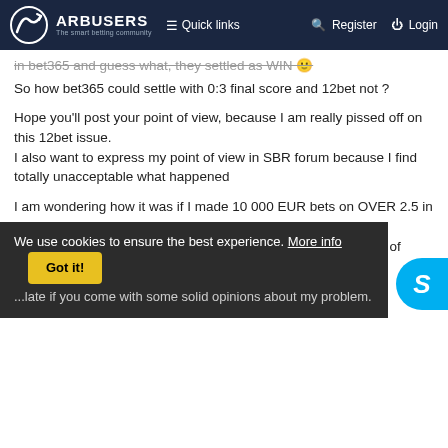ARBUSERS The smart betting community | Quick links | Register | Login
in bet365 and guess what, they settled as WIN 🙂
So how bet365 could settle with 0:3 final score and 12bet not ?
Hope you'll post your point of view, because I am really pissed off on this 12bet issue.
I also want to express my point of view in SBR forum because I find totally unacceptable what happened
I am wondering how it was if I made 10 000 EUR bets on OVER 2.5 in 12bet and lay them in betfair
12bet = void = 0 EUR (instead of let's say 10.200 EUR in case of WIN)
betfair = lets's say -9900 EUR
NET LOSS : -9900 EUR !!!
We use cookies to ensure the best experience. More info
... late if you come with some solid opinions about my problem.